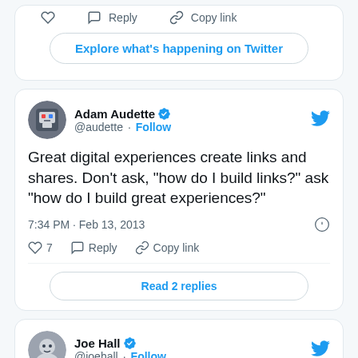Explore what's happening on Twitter
Adam Audette @audette · Follow
Great digital experiences create links and shares. Don't ask, "how do I build links?" ask "how do I build great experiences?"
7:34 PM · Feb 13, 2013
7   Reply   Copy link
Read 2 replies
Joe Hall @joehall · Follow
The best type of link...